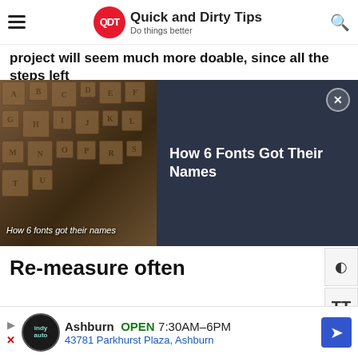Quick and Dirty Tips — Do things better
project will seem much more doable, since all the steps left
[Figure (screenshot): Dark banner ad showing letterpress type blocks image on the left with caption 'How 6 fonts got their names', and dark blue panel on the right with text 'How 6 Fonts Got Their Names' and a close (X) button]
Re-measure often
Once you figure out the best way to track your progress, and the types of progress you need to track, choose how often you'll track. Sometimes, tracking progress once a week is plenty. But from my experience, it's best to track progress every two to three days.
[Figure (screenshot): Bottom advertisement banner: Ashburn OPEN 7:30AM-6PM, 43781 Parkhurst Plaza, Ashburn, with Indy Auto logo and blue arrow icon]